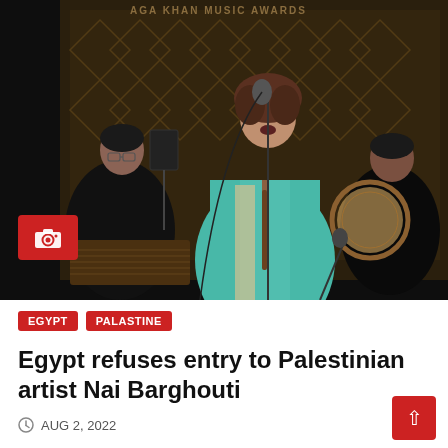[Figure (photo): Concert performance photo showing a woman in a teal traditional dress singing at a microphone, holding a flute. Behind her is a backdrop reading 'AGA KHAN MUSIC AWARDS'. To her left sits a musician playing a qanun (zither), and to her right is another musician playing a frame drum. A red camera badge icon overlays the lower left of the photo.]
EGYPT
PALASTINE
Egypt refuses entry to Palestinian artist Nai Barghouti
AUG 2, 2022
Palestinian singer and composer Nai Barghouti was